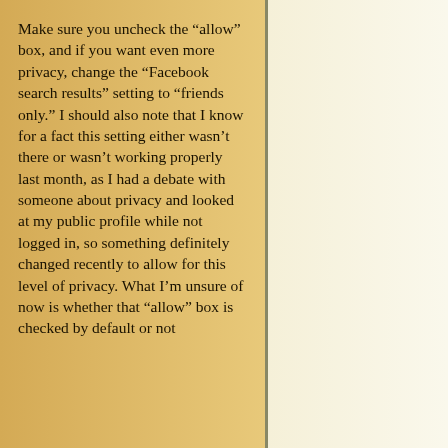Make sure you uncheck the “allow” box, and if you want even more privacy, change the “Facebook search results” setting to “friends only.” I should also note that I know for a fact this setting either wasn’t there or wasn’t working properly last month, as I had a debate with someone about privacy and looked at my public profile while not logged in, so something definitely changed recently to allow for this level of privacy. What I’m unsure of now is whether that “allow” box is checked by default or not